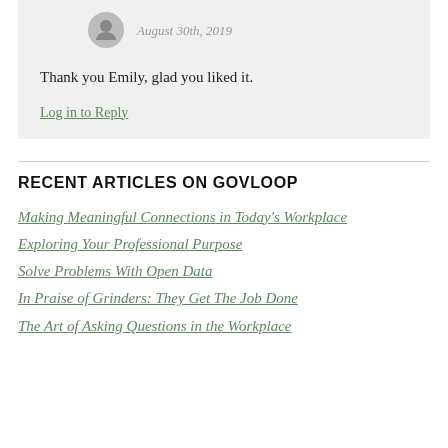August 30th, 2019
Thank you Emily, glad you liked it.
Log in to Reply
RECENT ARTICLES ON GOVLOOP
Making Meaningful Connections in Today's Workplace
Exploring Your Professional Purpose
Solve Problems With Open Data
In Praise of Grinders: They Get The Job Done
The Art of Asking Questions in the Workplace